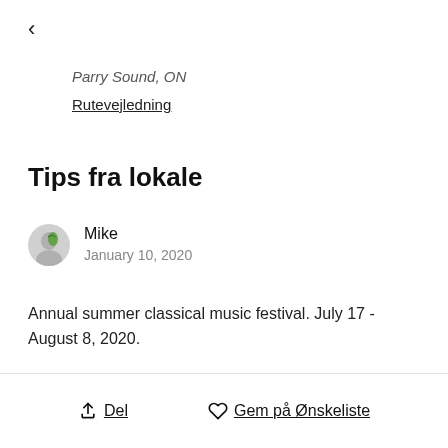<
Parry Sound, ON
Rutevejledning
Tips fra lokale
Mike
January 10, 2020
Annual summer classical music festival. July 17 - August 8, 2020.
Del   Gem på Ønskeliste